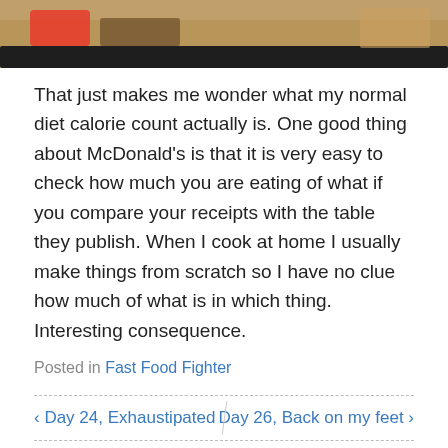[Figure (photo): Partial view of a McDonald's food tray on a wooden table, showing top edge of tray with food items, cropped at top of page]
That just makes me wonder what my normal diet calorie count actually is. One good thing about McDonald's is that it is very easy to check how much you are eating of what if you compare your receipts with the table they publish. When I cook at home I usually make things from scratch so I have no clue how much of what is in which thing. Interesting consequence.
Posted in Fast Food Fighter
< Day 24, Exhaustipated   Day 26, Back on my feet >
Leave a Reply
Your email address will not be published. Required fields are marked *